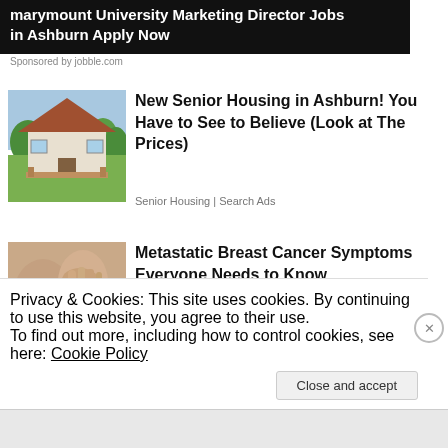[Figure (screenshot): Dark banner advertisement for Marymount University Marketing Director Jobs in Ashburn Apply Now]
Sponsored by jobble.com
[Figure (photo): Photo of a small white house with a deck, surrounded by green trees]
New Senior Housing in Ashburn! You Have to See to Believe (Look at The Prices)
Senior Housing | Search Ads
[Figure (photo): Photo of a person touching their neck/chest area, medical context]
Metastatic Breast Cancer Symptoms Everyone Needs to Know
Breast Cancer | Search Ads
Privacy & Cookies: This site uses cookies. By continuing to use this website, you agree to their use.
To find out more, including how to control cookies, see here: Cookie Policy
Close and accept